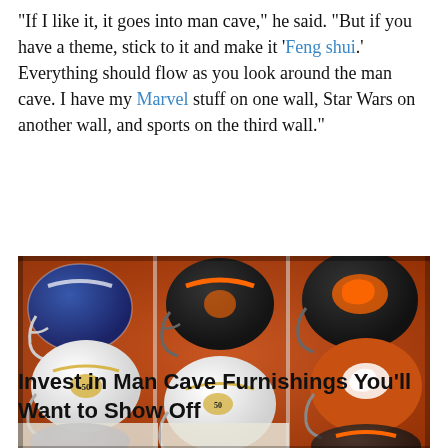“If I like it, it goes into man cave,” he said. “But if you have a theme, stick to it and make it ‘Feng shui.’ Everything should flow as you look around the man cave. I have my Marvel stuff on one wall, Star Wars on another wall, and sports on the third wall.”
[Figure (photo): A display case containing multiple Denver Broncos football helmets, both white and dark-colored, arranged on shelves against an orange/red background. Some helmets appear to be autographed.]
Invest in Man Cave Furnishings You’ll Want to Show Off